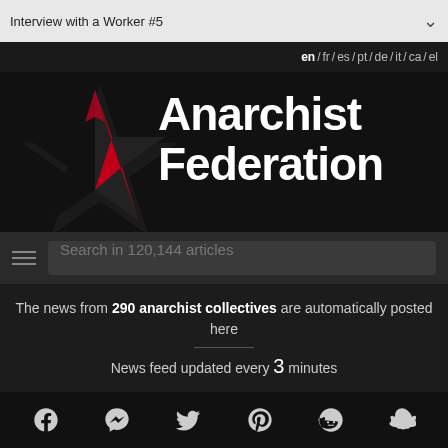Interview with a Worker #5
en / fr / es / pt / de / it / ca / el
[Figure (logo): Anarchist Federation logo: black star with red accent and white bold text reading 'Anarchist Federation']
Search in 120,144 articles
The news from 290 anarchist collectives are automatically posted here
News feed updated every 3 minutes
[Figure (infographic): Social media icons: Facebook, Messenger, Twitter, Pinterest, Reddit, Snapchat]